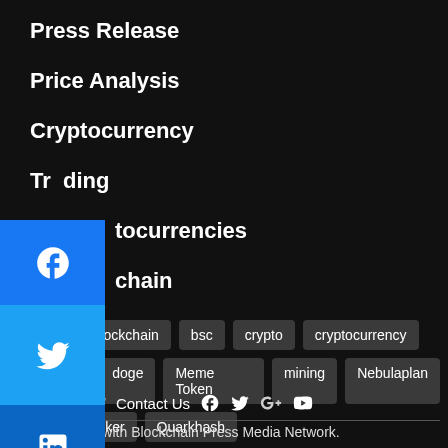Press Release
Price Analysis
Cryptocurrency
Trading
tocurrencies
chain
[Figure (other): Social media sharing sidebar with Facebook, Twitter, LinkedIn buttons and a + more button]
ain  blockchain  bsc  crypto  cryptocurrency  doge  Meme Token  mining  Nebulaplan  nft  poker  Quarkhash
About Us / Contact Us   Associated with Blockchain Press Media Network.